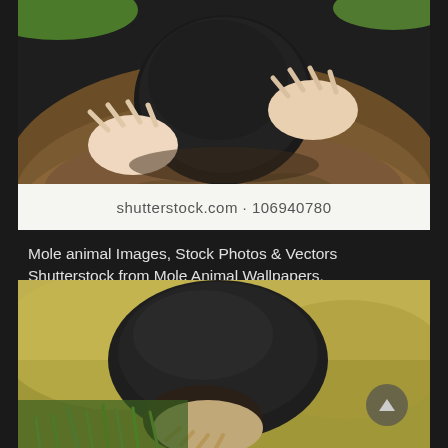[Figure (photo): Close-up photograph of a mole emerging from a mound of dark soil/dirt, showing the animal's dark fur body, pink clawed front paws, with green grass visible in background. Shutterstock watermark bar below showing 'shutterstock.com · 106940780'.]
Mole animal Images, Stock Photos & Vectors Shutterstock from Mole Animal Wallpapers, source:Shutterstock
[Figure (photo): Photograph of a mole animal on green grass, showing the dark-furred rounded body with a pink paw/snout visible, set against a blurred olive/yellow background.]